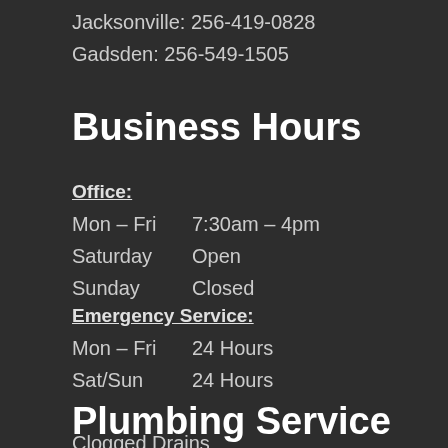Jacksonville: 256-419-0828
Gadsden: 256-549-1505
Business Hours
Office:
Mon – Fri   7:30am – 4pm
Saturday    Open
Sunday      Closed
Emergency Service:
Mon – Fri   24 Hours
Sat/Sun     24 Hours
Plumbing Service
Clogged Drains